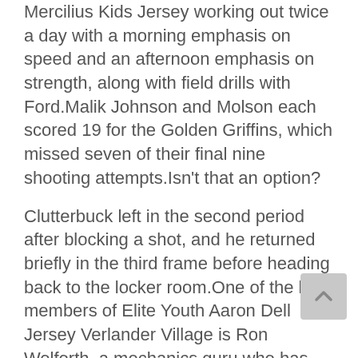Mercilius Kids Jersey working out twice a day with a morning emphasis on speed and an afternoon emphasis on strength, along with field drills with Ford.Malik Johnson and Molson each scored 19 for the Golden Griffins, which missed seven of their final nine shooting attempts.Isn't that an option?
Clutterbuck left in the second period after blocking a shot, and he returned briefly in the third frame before heading back to the locker room.One of the key members of Elite Youth Aaron Dell Jersey Verlander Village is Ron Wolforth, a mechanics guru who has worked with Scott Kazmir and Trevor Bauer, among others.A fleet-footed forward with quick hands, Bjork fashioned two goals and 11 assists over 33 games between the Bruins and AHL Providence this season.You just http://www.sanjosesharksauthenticstore.com/authenti